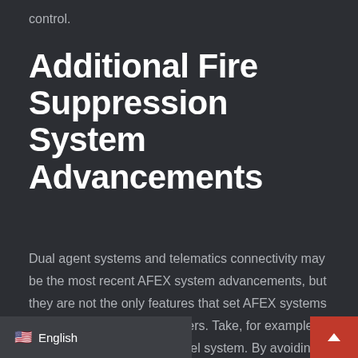control.
Additional Fire Suppression System Advancements
Dual agent systems and telematics connectivity may be the most recent AFEX system advancements, but they are not the only features that set AFEX systems apart from other manufacturers. Take, for example, AFEX's famous stainless steel system. By avoiding costly
🇺🇸 English